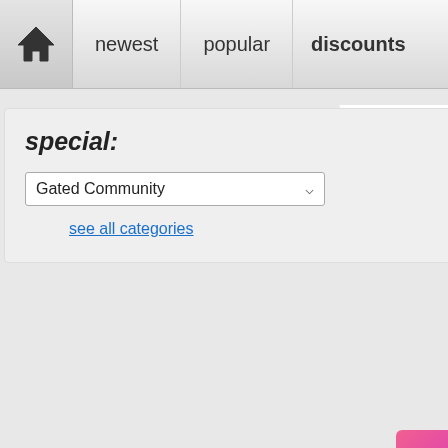newest  popular  discounts
special:
Gated Community
see all categories
Listing #: 7449
Kishanta is a 28-hectare development loca... inspired community only sells land/lot - lots...
City: Tal  Beds:  Size:
Almiya
Price: P3  City: Ma  Beds:  Size:
Listing #: 7436
Almiya is an Asian-inspired gated commun... development is only about 20 minutes awa...